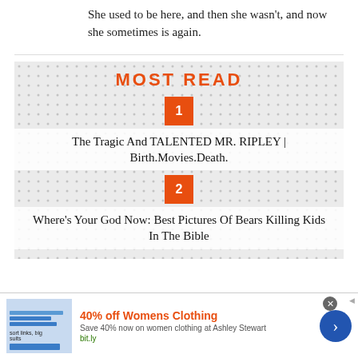She used to be here, and then she wasn't, and now she sometimes is again.
[Figure (infographic): Most Read widget with dotted background pattern, orange MOST READ title, numbered orange badge items listing top articles]
1 - The Tragic And TALENTED MR. RIPLEY | Birth.Movies.Death.
2 - Where's Your God Now: Best Pictures Of Bears Killing Kids In The Bible
[Figure (infographic): Advertisement banner: 40% off Womens Clothing - Save 40% now on women clothing at Ashley Stewart - bit.ly]